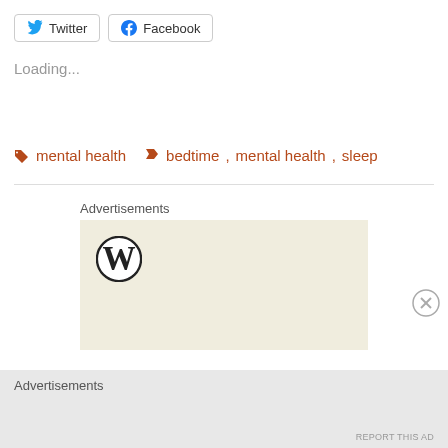Twitter  Facebook (social share buttons)
Loading...
mental health   bedtime, mental health, sleep
Advertisements
[Figure (logo): WordPress logo (W in circle) on a beige/cream advertisement block]
Advertisements
REPORT THIS AD